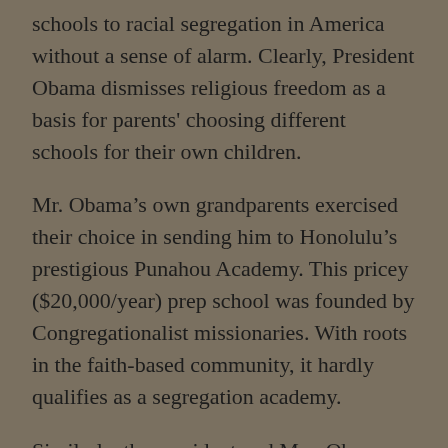schools to racial segregation in America without a sense of alarm. Clearly, President Obama dismisses religious freedom as a basis for parents' choosing different schools for their own children.
Mr. Obama's own grandparents exercised their choice in sending him to Honolulu's prestigious Punahou Academy. This pricey ($20,000/year) prep school was founded by Congregationalist missionaries. With roots in the faith-based community, it hardly qualifies as a segregation academy.
Similarly, the president and Mrs. Obama have chosen Washington, D.C.'s very tony Sidwell Friends school for their daughters. They have every right to do so, but no one would credit this Quaker-founded school as part of a segregation system.